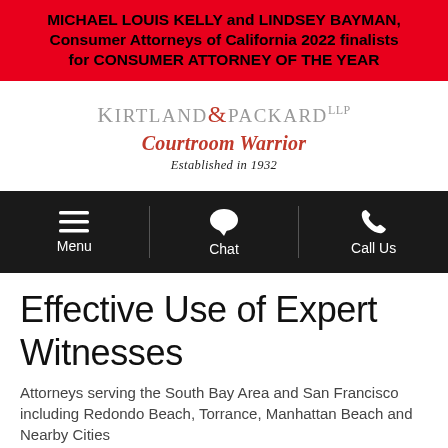MICHAEL LOUIS KELLY and LINDSEY BAYMAN, Consumer Attorneys of California 2022 finalists for CONSUMER ATTORNEY OF THE YEAR
[Figure (logo): Kirtland & Packard LLP logo with tagline 'Courtroom Warrior' and 'Established in 1932']
[Figure (infographic): Dark navigation bar with three items: Menu (hamburger icon), Chat (speech bubble icon), Call Us (phone icon)]
Effective Use of Expert Witnesses
Attorneys serving the South Bay Area and San Francisco including Redondo Beach, Torrance, Manhattan Beach and Nearby Cities